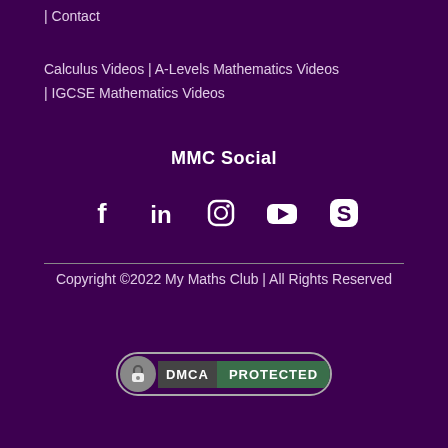| Contact
Calculus Videos | A-Levels Mathematics Videos | IGCSE Mathematics Videos
MMC Social
[Figure (infographic): Social media icons: Facebook, LinkedIn, Instagram, YouTube, Skype]
Copyright ©2022 My Maths Club | All Rights Reserved
[Figure (logo): DMCA Protected badge with lock icon]